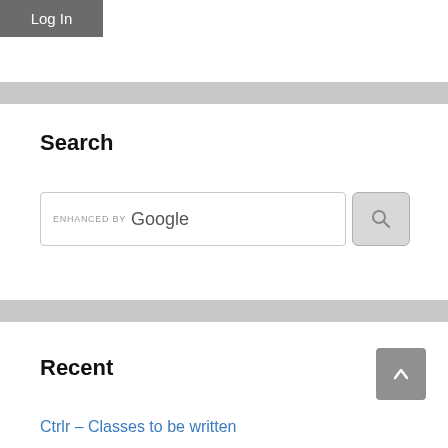Log In
Search
[Figure (screenshot): Google enhanced search bar with search button]
Recent
Ctrlr – Classes to be written